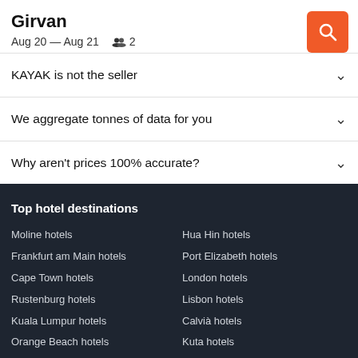Girvan
Aug 20 — Aug 21   👥 2
KAYAK is not the seller
We aggregate tonnes of data for you
Why aren't prices 100% accurate?
Top hotel destinations
Moline hotels
Hua Hin hotels
Frankfurt am Main hotels
Port Elizabeth hotels
Cape Town hotels
London hotels
Rustenburg hotels
Lisbon hotels
Kuala Lumpur hotels
Calvià hotels
Orange Beach hotels
Kuta hotels
Langkawi hotels
Pretoria hotels